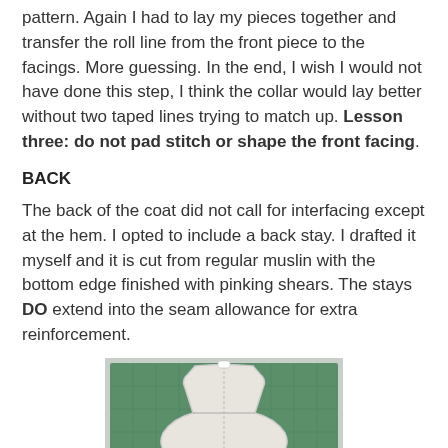pattern. Again I had to lay my pieces together and transfer the roll line from the front piece to the facings. More guessing. In the end, I wish I would not have done this step, I think the collar would lay better without two taped lines trying to match up. Lesson three: do not pad stitch or shape the front facing.
BACK
The back of the coat did not call for interfacing except at the hem. I opted to include a back stay. I drafted it myself and it is cut from regular muslin with the bottom edge finished with pinking shears. The stays DO extend into the seam allowance for extra reinforcement.
[Figure (photo): Photo of a coat back stay piece made from white muslin fabric laid on a green gridded cutting mat, with the bottom portion showing grey tweed coat fabric.]